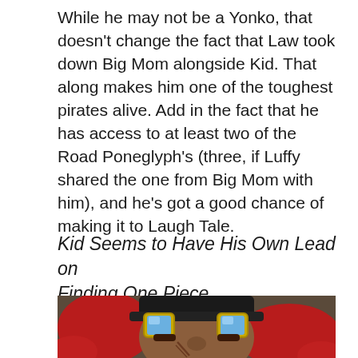While he may not be a Yonko, that doesn't change the fact that Law took down Big Mom alongside Kid. That along makes him one of the toughest pirates alive. Add in the fact that he has access to at least two of the Road Poneglyph's (three, if Luffy shared the one from Big Mom with him), and he's got a good chance of making it to Laugh Tale.
Kid Seems to Have His Own Lead on Finding One Piece
[Figure (illustration): Anime screenshot of Eustass Kid, a character with wild red hair and yellow square goggles, looking intensely at the camera with facial scars visible.]